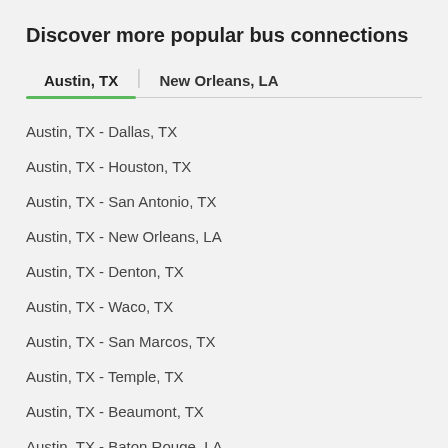Discover more popular bus connections
Austin, TX | New Orleans, LA
Austin, TX - Dallas, TX
Austin, TX - Houston, TX
Austin, TX - San Antonio, TX
Austin, TX - New Orleans, LA
Austin, TX - Denton, TX
Austin, TX - Waco, TX
Austin, TX - San Marcos, TX
Austin, TX - Temple, TX
Austin, TX - Beaumont, TX
Austin, TX - Baton Rouge, LA